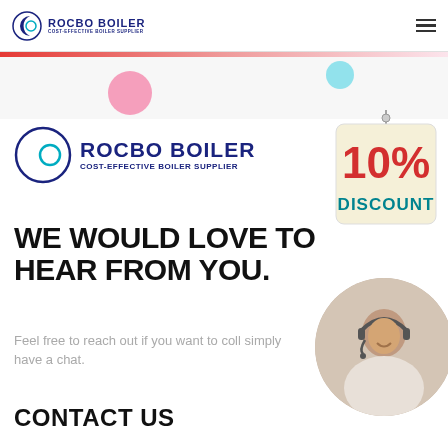[Figure (logo): Rocbo Boiler logo in navigation bar with crescent moon icon and text 'ROCBO BOILER / COST-EFFECTIVE BOILER SUPPLIER']
[Figure (illustration): Decorative pink and teal bubble/circle shapes on light background strip]
[Figure (logo): Rocbo Boiler large logo with crescent moon icon and text 'ROCBO BOILER / COST-EFFECTIVE BOILER SUPPLIER']
[Figure (illustration): 10% DISCOUNT hanging sign badge in red and teal colors]
WE WOULD LOVE TO HEAR FROM YOU.
Feel free to reach out if you want to coll simply have a chat.
[Figure (photo): Circular photo of a smiling woman wearing a customer service headset]
CONTACT US